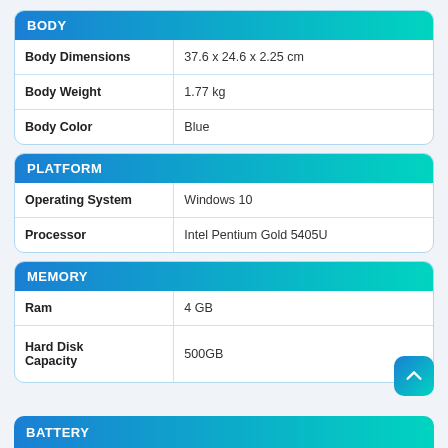| BODY |  |
| --- | --- |
| Body Dimensions | 37.6 x 24.6 x 2.25 cm |
| Body Weight | 1.77 kg |
| Body Color | Blue |
| PLATFORM |  |
| --- | --- |
| Operating System | Windows 10 |
| Processor | Intel Pentium Gold 5405U |
| MEMORY |  |
| --- | --- |
| Ram | 4 GB |
| Hard Disk Capacity | 500GB |
BATTERY